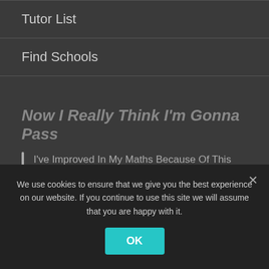Tutor List
Find Schools
Now I Really Think I'm Gonna Pass
I've Improved In My Maths Because Of This Website. Now I Really Think I'm Gonna Pass The 11+! ^_^ O.o '_' *-*... Read More
We use cookies to ensure that we give you the best experience on our website. If you continue to use this site we will assume that you are happy with it.